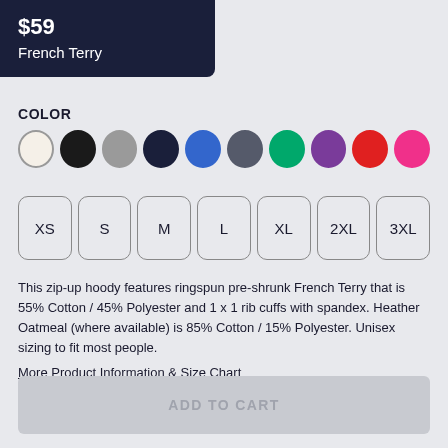$59 French Terry
COLOR
[Figure (infographic): Row of 10 color swatches (circles): white/oatmeal, black, gray, navy, blue, dark gray, green, purple, red, hot pink]
[Figure (infographic): Size selector buttons: XS, S, M, L, XL, 2XL, 3XL]
This zip-up hoody features ringspun pre-shrunk French Terry that is 55% Cotton / 45% Polyester and 1 x 1 rib cuffs with spandex. Heather Oatmeal (where available) is 85% Cotton / 15% Polyester. Unisex sizing to fit most people.
More Product Information & Size Chart
ADD TO CART
About the Design